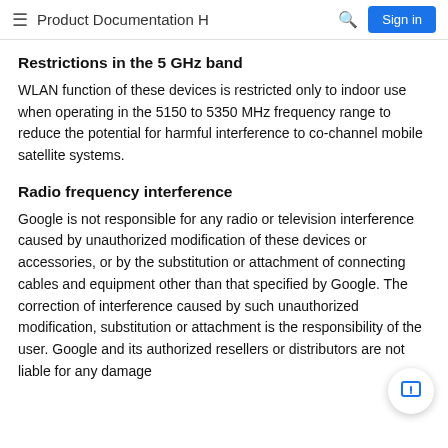Product Documentation H  🔍  Sign in
Restrictions in the 5 GHz band
WLAN function of these devices is restricted only to indoor use when operating in the 5150 to 5350 MHz frequency range to reduce the potential for harmful interference to co-channel mobile satellite systems.
Radio frequency interference
Google is not responsible for any radio or television interference caused by unauthorized modification of these devices or accessories, or by the substitution or attachment of connecting cables and equipment other than that specified by Google. The correction of interference caused by such unauthorized modification, substitution or attachment is the responsibility of the user. Google and its authorized resellers or distributors are not liable for any damage